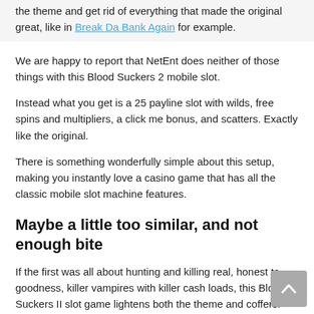the theme and get rid of everything that made the original great, like in Break Da Bank Again for example.
We are happy to report that NetEnt does neither of those things with this Blood Suckers 2 mobile slot.
Instead what you get is a 25 payline slot with wilds, free spins and multipliers, a click me bonus, and scatters. Exactly like the original.
There is something wonderfully simple about this setup, making you instantly love a casino game that has all the classic mobile slot machine features.
Maybe a little too similar, and not enough bite
If the first was all about hunting and killing real, honest to goodness, killer vampires with killer cash loads, this Blood Suckers II slot game lightens both the theme and coffers.
All the Vampires here are pretty rather than scary, and the top